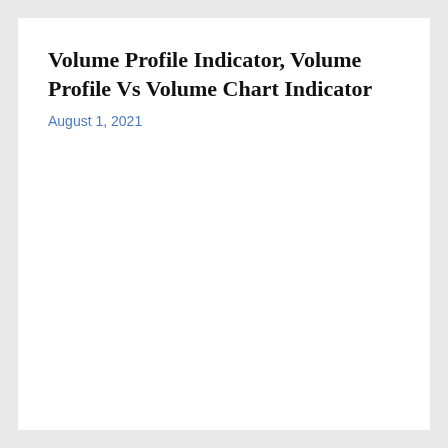Volume Profile Indicator, Volume Profile Vs Volume Chart Indicator
August 1, 2021